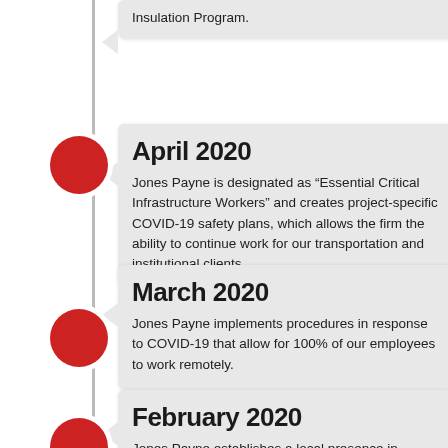Insulation Program.
April 2020
Jones Payne is designated as “Essential Critical Infrastructure Workers” and creates project-specific COVID-19 safety plans, which allows the firm the ability to continue work for our transportation and institutional clients.
March 2020
Jones Payne implements procedures in response to COVID-19 that allow for 100% of our employees to work remotely.
February 2020
Jones Payne establishes a local presence in Baltimore, MD...